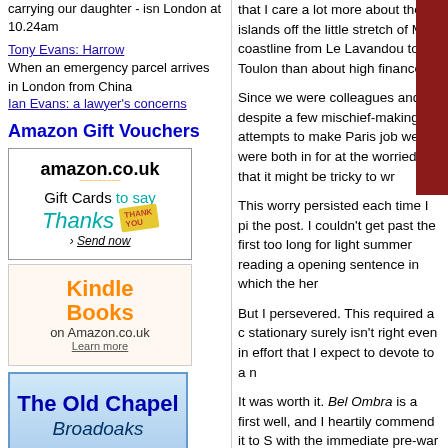carrying our daughter - isn London at 10.24am
Tony Evans: Harrow
When an emergency parcel arrives in London from China
Ian Evans: a lawyer's concerns
Amazon Gift Vouchers
[Figure (illustration): Amazon.co.uk Gift Cards to say Thanks - Send now advertisement]
[Figure (illustration): Kindle Books on Amazon.co.uk - Learn more advertisement]
[Figure (illustration): The Old Chapel Broadoaks Bed & Breakfast Lostwithiel, Cornwall advertisement]
that I care a lot more about the islands off the little stretch of Med coastline from Le Lavandou to Toulon than about high finance.
Since we were colleagues and, despite a few mischief-making attempts to make Paris job we were both in for at the worried that it might be tricky to wr
This worry persisted each time I pi the post. I couldn't get past the first too long for light summer reading a opening sentence in which the her
But I persevered. This required a c stationary surely isn't right even in effort that I expect to devote to a n
It was worth it. Bel Ombra is a first well, and I heartily commend it to S with the immediate pre-war period the nation's humiliating fall to the N way corners of France as interestin or the more obvious holiday playgr
It is the story, very loosely and in p islands facing Toulon, Porquerolle